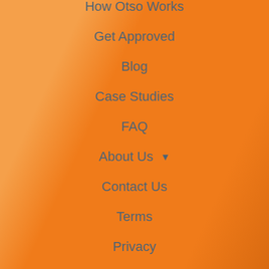How Otso Works
Get Approved
Blog
Case Studies
FAQ
About Us ▾
Contact Us
Terms
Privacy
Subscribe